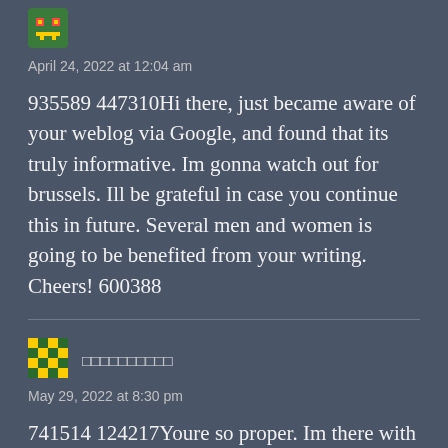[Figure (illustration): Pixel art avatar icon - small green robot/monster character]
April 24, 2022 at 12:04 am
935589 447310Hi there, just became aware of your weblog via Google, and found that its truly informative. Im gonna watch out for brussels. Ill be grateful in case you continue this in future. Several men and women is going to be benefited from your writing. Cheers! 600388
[Figure (illustration): Pixel art avatar icon - green and yellow checkered character]
□□□□□□□□□□
May 29, 2022 at 8:30 pm
741514 124217Youre so proper. Im there with you. Your blog is surely worth a read if anyone comes throughout it. Im lucky I did because